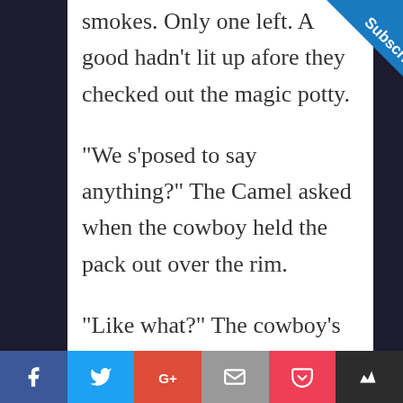smokes. Only one left. A good hadn't lit up afore they checked out the magic potty.
"We s'posed to say anything?" The Camel asked when the cowboy held the pack out over the rim.
"Like what?" The cowboy's fingers tightened around the cellophane that didn't crinkle.
[Figure (infographic): Blue Subscribe ribbon/banner in top-right corner]
Social sharing bar: Facebook, Twitter, Google+, Email, Pocket, Feedly